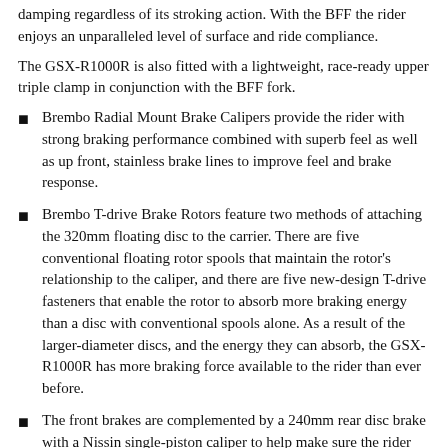damping regardless of its stroking action. With the BFF the rider enjoys an unparalleled level of surface and ride compliance.
The GSX-R1000R is also fitted with a lightweight, race-ready upper triple clamp in conjunction with the BFF fork.
Brembo Radial Mount Brake Calipers provide the rider with strong braking performance combined with superb feel as well as up front, stainless brake lines to improve feel and brake response.
Brembo T-drive Brake Rotors feature two methods of attaching the 320mm floating disc to the carrier. There are five conventional floating rotor spools that maintain the rotor's relationship to the caliper, and there are five new-design T-drive fasteners that enable the rotor to absorb more braking energy than a disc with conventional spools alone. As a result of the larger-diameter discs, and the energy they can absorb, the GSX-R1000R has more braking force available to the rider than ever before.
The front brakes are complemented by a 240mm rear disc brake with a Nissin single-piston caliper to help make sure the rider can have controlled...
Like conventional ABS, the Motion Track Brake System provides the appropriate amount of braking force from the available traction, with additional...